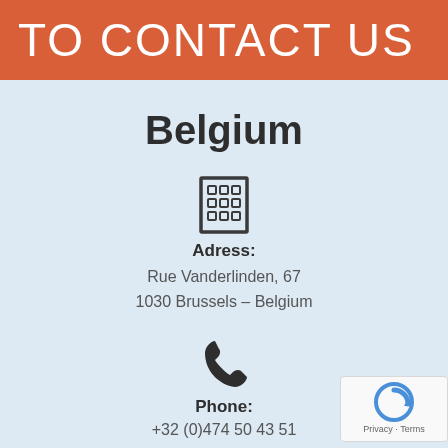TO CONTACT US
Belgium
[Figure (illustration): Building/office icon — a square outline with a grid of small windows inside]
Adress: Rue Vanderlinden, 67 1030 Brussels – Belgium
[Figure (illustration): Phone handset icon]
Phone: +32 (0)474 50 43 51